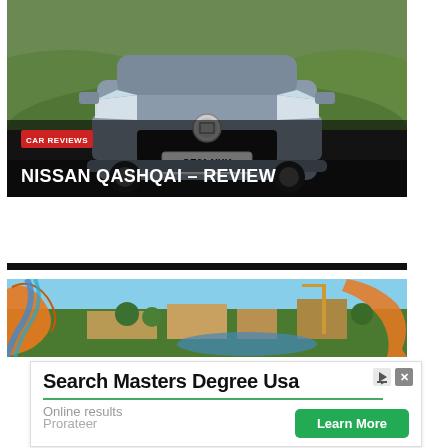[Figure (photo): Front view of a Nissan Qashqai SUV (registration OE21 NXK) on a green countryside road. The car is silver/grey, shown head-on with hills in the background. Overlay text includes a red 'CAR REVIEWS' badge and white title 'NISSAN QASHQAI – REVIEW'.]
NISSAN QASHQAI – REVIEW
[Figure (photo): Aerial view of a theme park with colorful roller coasters (orange and blue slides/coasters), trees, and park buildings visible from above.]
[Figure (infographic): Advertisement: 'Search Masters Degree Usa' with subtitle 'Online results', brand 'Prorateer', and a green 'Learn More' button.]